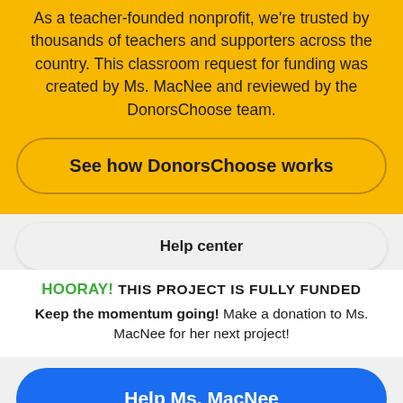As a teacher-founded nonprofit, we're trusted by thousands of teachers and supporters across the country. This classroom request for funding was created by Ms. MacNee and reviewed by the DonorsChoose team.
See how DonorsChoose works
Help center
HOORAY! THIS PROJECT IS FULLY FUNDED
Keep the momentum going! Make a donation to Ms. MacNee for her next project!
Help Ms. MacNee